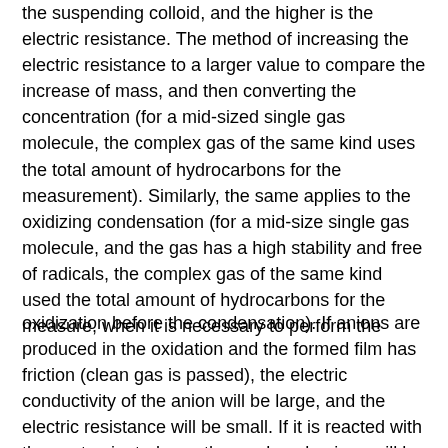the suspending colloid, and the higher is the electric resistance. The method of increasing the electric resistance to a larger value to compare the increase of mass, and then converting the concentration (for a mid-sized single gas molecule, the complex gas of the same kind uses the total amount of hydrocarbons for the measurement). Similarly, the same applies to the oxidizing condensation (for a mid-size single gas molecule, and the gas has a high stability and free of radicals, the complex gas of the same kind used the total amount of hydrocarbons for the measure, when it is necessary to perform the
oxidization before the condensation). If anions are produced in the oxidation and the formed film has friction (clean gas is passed), the electric conductivity of the anion will be large, and the electric resistance will be small. If it is reacted with the contaminated gas, the produced anions will be consumed, and thus the electric conductivity will become small and the electric resistance will become large. From the increased value of the electric resistance, we can know the quantity and